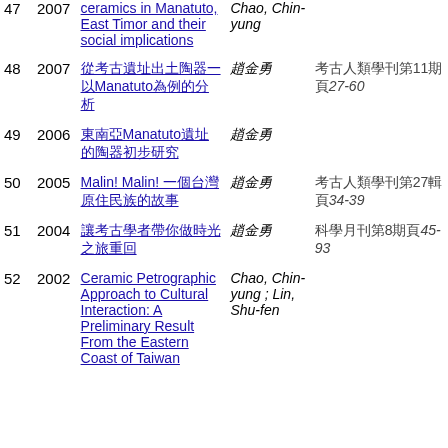| # | Year | Title | Author | Publication |
| --- | --- | --- | --- | --- |
| 47 | 2007 | ceramics in Manatuto, East Timor and their social implications | Chao, Chin-yung |  |
| 48 | 2007 | 〔Chinese characters〕—以Manatuto〔chars〕為例 | 〔chars〕 | 〔chars〕第11〔chars〕頁27-60 |
| 49 | 2006 | 東南亞Manatuto〔chars〕陶器〔chars〕初步研究 | 〔chars〕 |  |
| 50 | 2005 | Malin! Malin! 〔chars〕一個台灣的故事 | 〔chars〕 | 〔chars〕第27輯頁34-39 |
| 51 | 2004 | 〔chars〕考古學者的時光之旅〔chars〕 | 〔chars〕 | 〔chars〕第8期頁45-93 |
| 52 | 2002 | Ceramic Petrographic Approach to Cultural Interaction: A Preliminary Result From the Eastern Coast of Taiwan | Chao, Chin-yung ; Lin, Shu-fen |  |